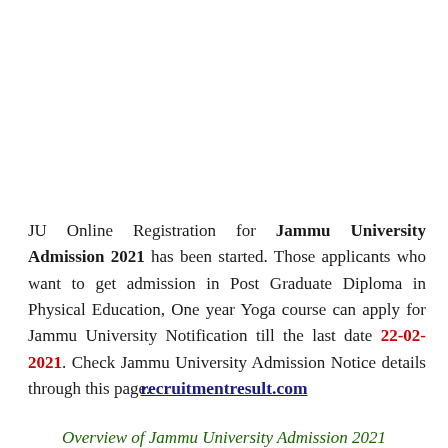JU Online Registration for Jammu University Admission 2021 has been started. Those applicants who want to get admission in Post Graduate Diploma in Physical Education, One year Yoga course can apply for Jammu University Notification till the last date 22-02-2021. Check Jammu University Admission Notice details through this page.
recruitmentresult.com
Overview of Jammu University Admission 2021